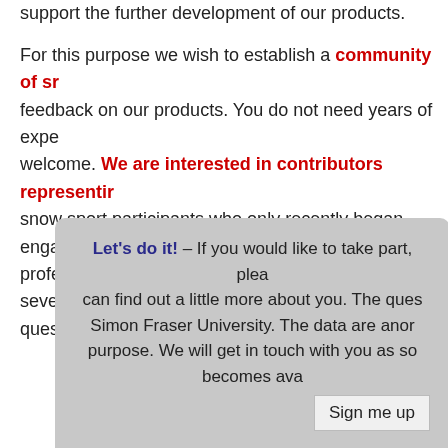support the further development of our products.
For this purpose we wish to establish a community of s... feedback on our products. You do not need years of expe... welcome. We are interested in contributors representi... snow sport participants who only recently began engaging... professionals. The study is scheduled to run for several y... questionnaires.
Let's do it! – If you would like to take part, plea... can find out a little more about you. The ques... Simon Fraser University. The data are anor... purpose. We will get in touch with you as so... becomes ava...
Sign me up
It takes only 5 minutes to fill ou...